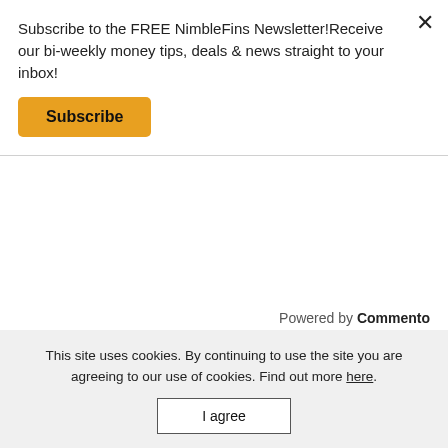Subscribe to the FREE NimbleFins Newsletter!Receive our bi-weekly money tips, deals & news straight to your inbox!
Subscribe
×
Powered by Commento
PET INSURANCE BASICS
Best Pet Insurance
This site uses cookies. By continuing to use the site you are agreeing to our use of cookies. Find out more here.
I agree